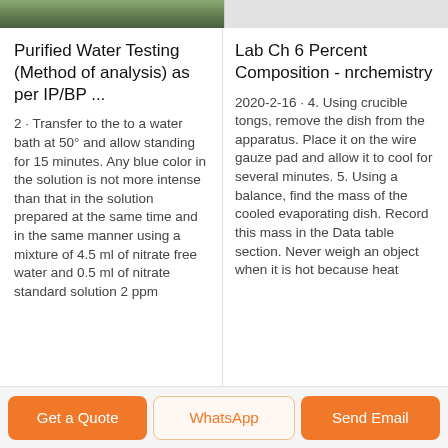[Figure (photo): Top banner: left side shows a green/nature image strip, right side shows a light gray placeholder image strip]
Purified Water Testing (Method of analysis) as per IP/BP ...
2 · Transfer to the to a water bath at 50° and allow standing for 15 minutes. Any blue color in the solution is not more intense than that in the solution prepared at the same time and in the same manner using a mixture of 4.5 ml of nitrate free water and 0.5 ml of nitrate standard solution 2 ppm
Lab Ch 6 Percent Composition - nrchemistry
2020-2-16 · 4. Using crucible tongs, remove the dish from the apparatus. Place it on the wire gauze pad and allow it to cool for several minutes. 5. Using a balance, find the mass of the cooled evaporating dish. Record this mass in the Data table section. Never weigh an object when it is hot because heat
Get a Quote   WhatsApp   Send Email